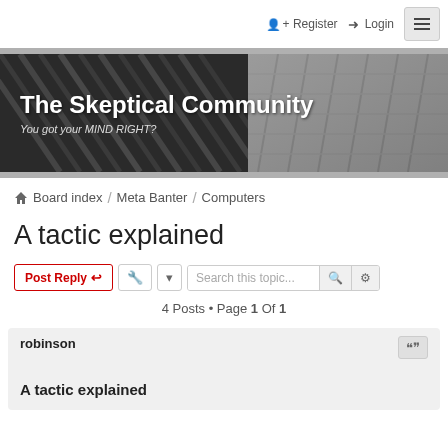Register  Login  [menu]
[Figure (photo): The Skeptical Community forum banner with dark architectural building background. Title: 'The Skeptical Community'. Subtitle: 'You got your MIND RIGHT?']
Board index / Meta Banter / Computers
A tactic explained
Post Reply | tools | Search this topic... | 4 Posts • Page 1 Of 1
robinson
A tactic explained